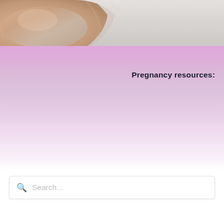[Figure (photo): Close-up photo of a pregnant belly in white/light gray fabric clothing, showing the curve of a pregnancy bump with soft fabric draping]
Pregnancy resources:
[Figure (screenshot): Search bar with magnifying glass icon and placeholder text 'Search...']